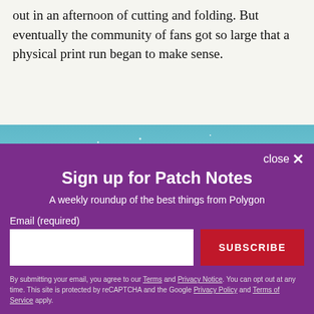out in an afternoon of cutting and folding. But eventually the community of fans got so large that a physical print run began to make sense.
[Figure (photo): A teal sky with clouds and scattered white particles/sparkles]
close ×
Sign up for Patch Notes
A weekly roundup of the best things from Polygon
Email (required)
SUBSCRIBE
By submitting your email, you agree to our Terms and Privacy Notice. You can opt out at any time. This site is protected by reCAPTCHA and the Google Privacy Policy and Terms of Service apply.